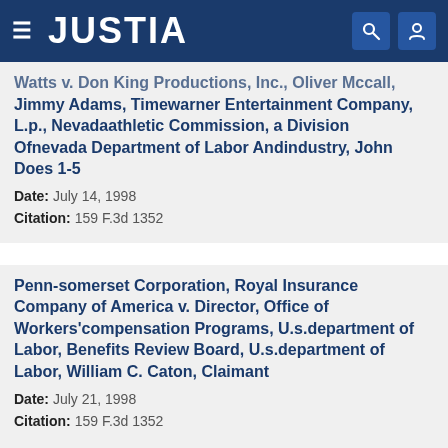JUSTIA
Watts v. Don King Productions, Inc., Oliver Mcall, Jimmy Adams, Timewarner Entertainment Company, L.p., Nevadaathletic Commission, a Division Ofnevada Department of Labor Andindustry, John Does 1-5
Date: July 14, 1998
Citation: 159 F.3d 1352
Penn-somerset Corporation, Royal Insurance Company of America v. Director, Office of Workers'compensation Programs, U.s.department of Labor, Benefits Review Board, U.s.department of Labor, William C. Caton, Claimant
Date: July 21, 1998
Citation: 159 F.3d 1352